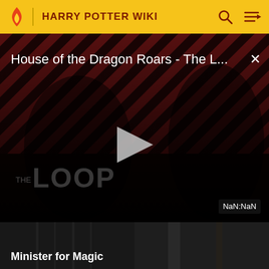HARRY POTTER WIKI
[Figure (screenshot): Video player showing 'House of the Dragon Roars - The L...' with a play button, diagonal red/black stripes background, 'THE LOOP' watermark, and NaN:NaN timestamp. Close X button in top right.]
Minister for Magic